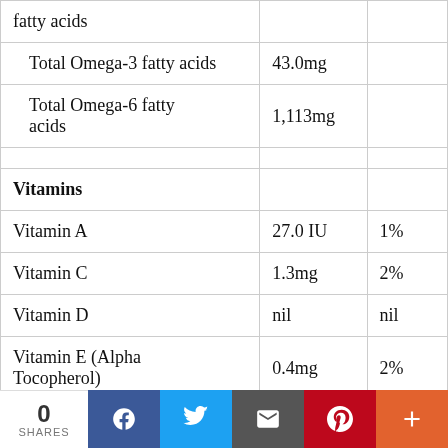| Nutrient | Amount | % DV |
| --- | --- | --- |
| fatty acids |  |  |
| Total Omega-3 fatty acids | 43.0mg |  |
| Total Omega-6 fatty acids | 1,113mg |  |
|  |  |  |
| Vitamins |  |  |
| Vitamin A | 27.0 IU | 1% |
| Vitamin C | 1.3mg | 2% |
| Vitamin D | nil | nil |
| Vitamin E (Alpha Tocopherol) | 0.4mg | 2% |
0 SHARES | Facebook | Twitter | Email | Pinterest | More